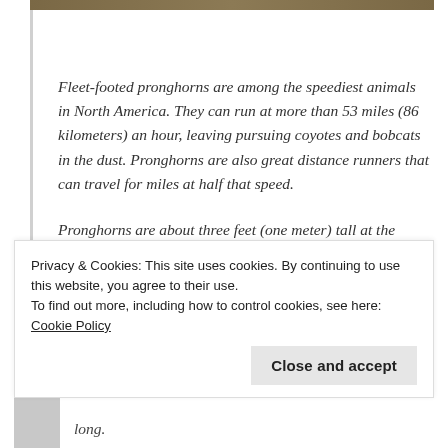[Figure (photo): Top portion of a nature/wildlife photo showing pronghorns, cropped at top of page]
Fleet-footed pronghorns are among the speediest animals in North America. They can run at more than 53 miles (86 kilometers) an hour, leaving pursuing coyotes and bobcats in the dust. Pronghorns are also great distance runners that can travel for miles at half that speed.
Pronghorns are about three feet (one meter) tall at the shoulders. They are reddish brown, but feature white stomachs and wide, white stripes on their throats. When startled they raise the hair on their rumps to display a white warning patch that can be
Privacy & Cookies: This site uses cookies. By continuing to use this website, you agree to their use.
To find out more, including how to control cookies, see here: Cookie Policy
Close and accept
long.